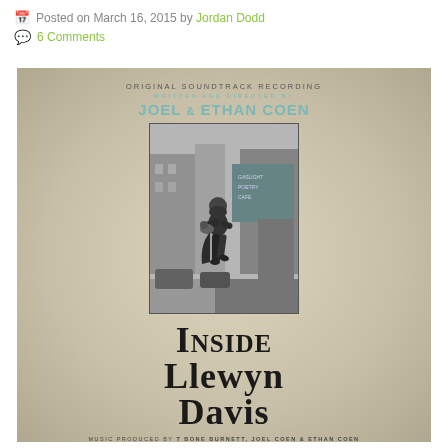Posted on March 16, 2015 by Jordan Dodd
6 Comments
[Figure (photo): Album cover for 'Inside Llewyn Davis' Original Soundtrack Recording, written and directed by Joel & Ethan Coen. Features a black-and-white photo of a bearded man walking on a city street holding a cat, with a 'Gaslight Poetry Cafe' sign visible in the background. Large title text 'Inside Llewyn Davis' at the bottom, with 'Music Produced by T Bone Burnett, Joel Coen & Ethan Coen' at the very bottom.]